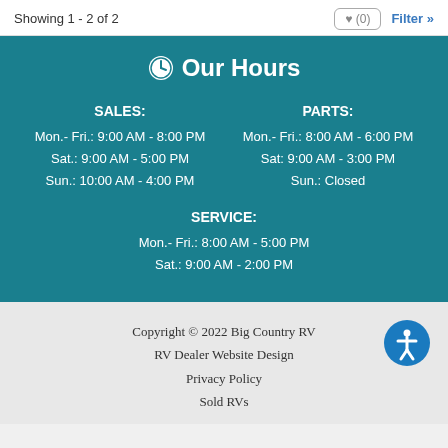Showing 1 - 2 of 2
Our Hours
SALES:
Mon.- Fri.: 9:00 AM - 8:00 PM
Sat.: 9:00 AM - 5:00 PM
Sun.: 10:00 AM - 4:00 PM
PARTS:
Mon.- Fri.: 8:00 AM - 6:00 PM
Sat: 9:00 AM - 3:00 PM
Sun.: Closed
SERVICE:
Mon.- Fri.: 8:00 AM - 5:00 PM
Sat.: 9:00 AM - 2:00 PM
Copyright © 2022 Big Country RV
RV Dealer Website Design
Privacy Policy
Sold RVs